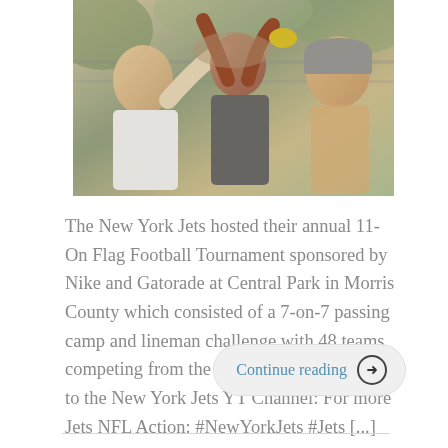[Figure (photo): Group of young athletes in a huddle or close together, outdoors at a sports event. One person wearing a gray cap is visible on the right, another in a white shirt on the left.]
The New York Jets hosted their annual 11-On Flag Football Tournament sponsored by Nike and Gatorade at Central Park in Morris County which consisted of a 7-on-7 passing camp and lineman challenge with 48 teams competing from the tri-state area. Subscribe to the New York Jets YT Channel: For more Jets NFL Action: #NewYorkJets #Jets [...]
Continue reading →